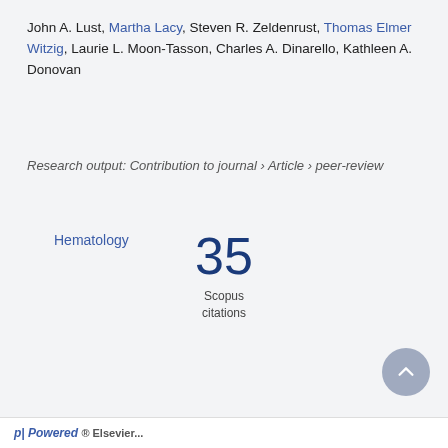John A. Lust, Martha Lacy, Steven R. Zeldenrust, Thomas Elmer Witzig, Laurie L. Moon-Tasson, Charles A. Dinarello, Kathleen A. Donovan
Hematology
Research output: Contribution to journal › Article › peer-review
35 Scopus citations
Powered by Pure, Scopus & Elsevier Fingerprint Engine